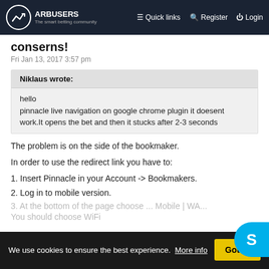ARBUSERS – Quick links | Register | Login
conserns!
Fri Jan 13, 2017 3:57 pm
Niklaus wrote:
hello
pinnacle live navigation on google chrome plugin it doesent work.It opens the bet and then it stucks after 2-3 seconds
The problem is on the side of the bookmaker.
In order to use the redirect link you have to:
1. Insert Pinnacle in your Account -> Bookmakers.
2. Log in to mobile version.
We use cookies to ensure the best experience. More info
You should choose WiFi